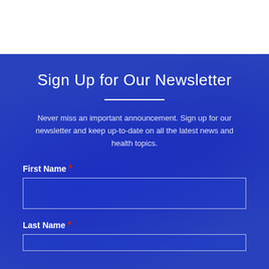Sign Up for Our Newsletter
Never miss an important announcement. Sign up for our newsletter and keep up-to-date on all the latest news and health topics.
First Name *
Last Name *